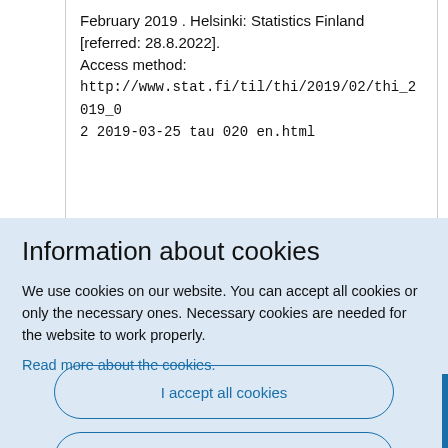February 2019 . Helsinki: Statistics Finland [referred: 28.8.2022]. Access method: http://www.stat.fi/til/thi/2019/02/thi_2019_02 2019-03-25 tau 020 en.html
Information about cookies
We use cookies on our website. You can accept all cookies or only the necessary ones. Necessary cookies are needed for the website to work properly.
Read more about the cookies.
I accept all cookies
I only accept necessary cookies